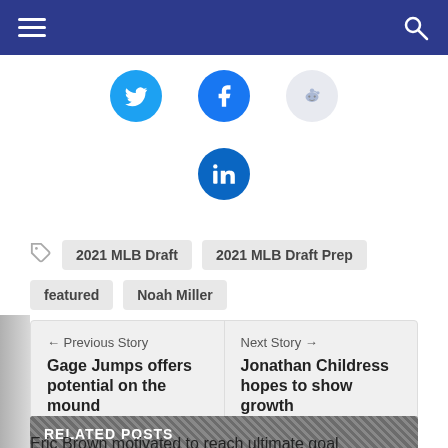Navigation header with hamburger menu and search icon
[Figure (other): Social media share buttons: Twitter (blue), Facebook (blue), Reddit (light blue/gray), LinkedIn (blue)]
2021 MLB Draft
2021 MLB Draft Prep
featured
Noah Miller
← Previous Story
Gage Jumps offers potential on the mound
Next Story →
Jonathan Childress hopes to show growth
RELATED POSTS
Eric Brown motivated to reach ultimate goal